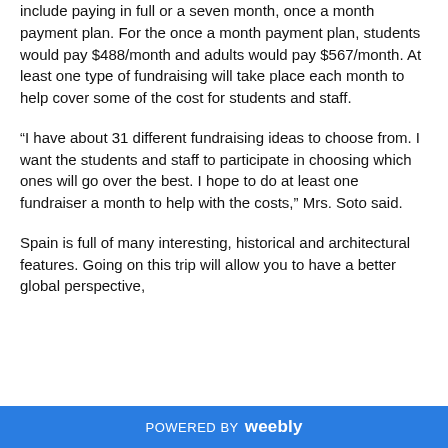include paying in full or a seven month, once a month payment plan. For the once a month payment plan, students would pay $488/month and adults would pay $567/month. At least one type of fundraising will take place each month to help cover some of the cost for students and staff.
“I have about 31 different fundraising ideas to choose from. I want the students and staff to participate in choosing which ones will go over the best. I hope to do at least one fundraiser a month to help with the costs,” Mrs. Soto said.
Spain is full of many interesting, historical and architectural features. Going on this trip will allow you to have a better global perspective,
POWERED BY weebly